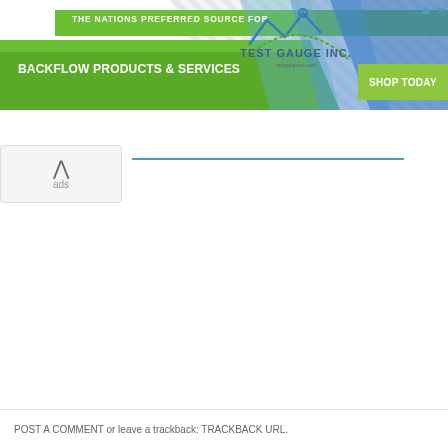[Figure (screenshot): Website banner advertisement for Test Gauge Inc. - The Nations Preferred Source for Backflow Products & Services. Green diagonal design with 'SHOP TODAY' button.]
ads
POST A COMMENT or leave a trackback: TRACKBACK URL.